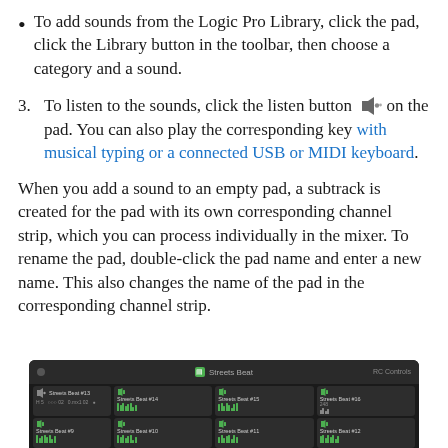To add sounds from the Logic Pro Library, click the pad, click the Library button in the toolbar, then choose a category and a sound.
To listen to the sounds, click the listen button on the pad. You can also play the corresponding key with musical typing or a connected USB or MIDI keyboard.
When you add a sound to an empty pad, a subtrack is created for the pad with its own corresponding channel strip, which you can process individually in the mixer. To rename the pad, double-click the pad name and enter a new name. This also changes the name of the pad in the corresponding channel strip.
[Figure (screenshot): Screenshot of Logic Pro Beat Sequencer showing Streets Beat pad layout with multiple labeled pads (Streets Beat #8 through #16) arranged in a 2-row grid on a dark background.]